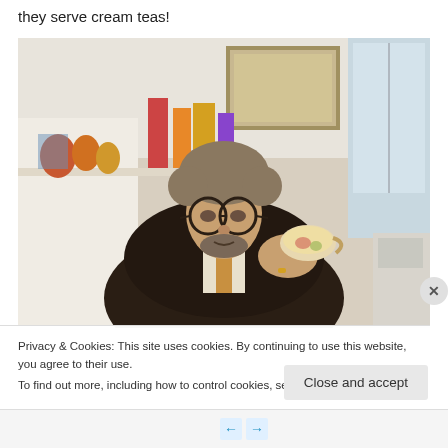they serve cream teas!
[Figure (photo): A middle-aged man with grey curly hair, glasses, and a dark jacket sits in what appears to be a tea shop. He is holding a decorative china teacup up near his face, smiling slightly. Behind him are shelves with colourful decorative items and a framed picture on a white wall. A window is visible to the right.]
Privacy & Cookies: This site uses cookies. By continuing to use this website, you agree to their use.
To find out more, including how to control cookies, see here: Cookie Policy
Close and accept